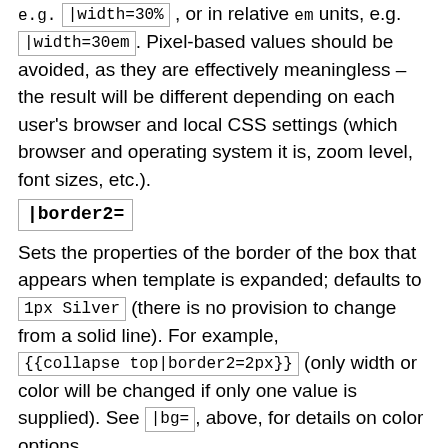e.g. |width=30% , or in relative em units, e.g. |width=30em . Pixel-based values should be avoided, as they are effectively meaningless – the result will be different depending on each user's browser and local CSS settings (which browser and operating system it is, zoom level, font sizes, etc.).
|border2=
Sets the properties of the border of the box that appears when template is expanded; defaults to 1px Silver (there is no provision to change from a solid line). For example, {{collapse top|border2=2px}} (only width or color will be changed if only one value is supplied). See |bg= , above, for details on color options.
|bg2=
Sets the background color of the box that appears when template is expanded; defaults to White